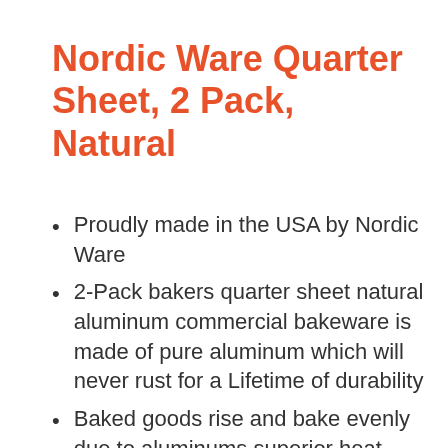Nordic Ware Quarter Sheet, 2 Pack, Natural
Proudly made in the USA by Nordic Ware
2-Pack bakers quarter sheet natural aluminum commercial bakeware is made of pure aluminum which will never rust for a Lifetime of durability
Baked goods rise and bake evenly due to aluminums superior heat conductivity and the reinforced encapsulated steel rim prevents